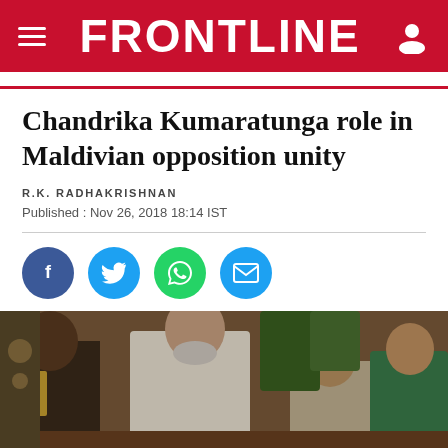FRONTLINE
Chandrika Kumaratunga role in Maldivian opposition unity
R.K. RADHAKRISHNAN
Published : Nov 26, 2018 18:14 IST
[Figure (infographic): Social media sharing buttons: Facebook (blue circle), Twitter (light blue circle), WhatsApp (green circle), Email (light blue circle)]
[Figure (photo): Photograph showing political figures at a gathering, including a man in a white kurta (center) shaking hands or greeting others. A woman in green is visible on the right.]